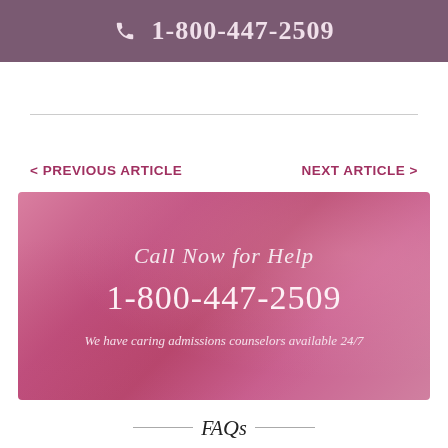1-800-447-2509
< PREVIOUS ARTICLE
NEXT ARTICLE >
[Figure (infographic): Pink watercolor-style banner with text: 'Call Now for Help', '1-800-447-2509', 'We have caring admissions counselors available 24/7']
FAQs